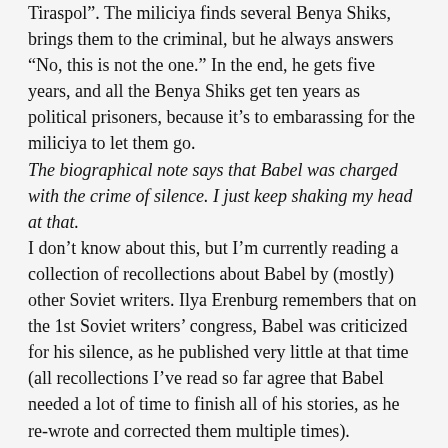Tiraspol". The miliciya finds several Benya Shiks, brings them to the criminal, but he always answers “No, this is not the one.” In the end, he gets five years, and all the Benya Shiks get ten years as political prisoners, because it's to embarassing for the miliciya to let them go.
The biographical note says that Babel was charged with the crime of silence. I just keep shaking my head at that.
I don’t know about this, but I’m currently reading a collection of recollections about Babel by (mostly) other Soviet writers. Ilya Erenburg remembers that on the 1st Soviet writers’ congress, Babel was criticized for his silence, as he published very little at that time (all recollections I’ve read so far agree that Babel needed a lot of time to finish all of his stories, as he re-wrote and corrected them multiple times). Erenburg writes that he defended Babel against these accusations by saying that an elephant needs more time to bear a young than a rabbit. Babel simply joked that he was just very succesful in a new literary genre, silence.